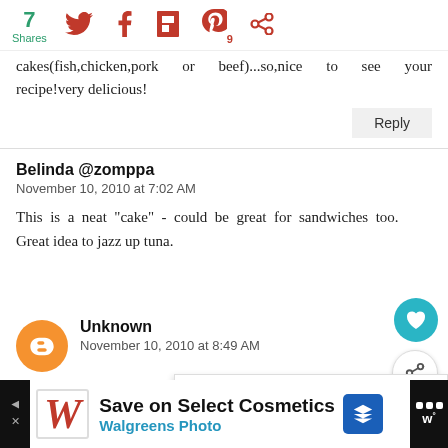[Figure (infographic): Social sharing bar with 7 Shares count and icons for Twitter, Facebook, Flipboard, Pinterest (9), and another social share icon]
cakes(fish,chicken,pork or beef)...so,nice to see your recipe!very delicious!
Reply
Belinda @zomppa
November 10, 2010 at 7:02 AM
This is a neat "cake" - could be great for sandwiches too. Great idea to jazz up tuna.
Unknown
November 10, 2010 at 8:49 AM
[Figure (infographic): Ad banner: Save on Select Cosmetics - Walgreens Photo]
[Figure (infographic): What's Next panel showing Italian Avocado Fri... with food thumbnail]